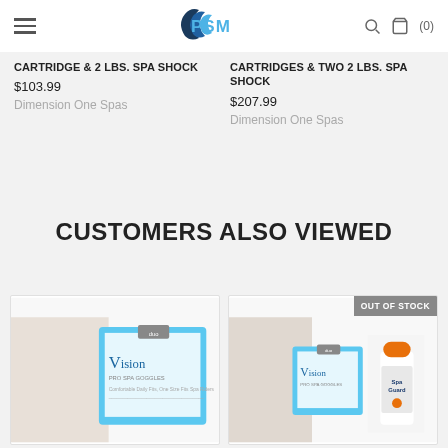PSM
CARTRIDGE & 2 LBS. SPA SHOCK
$103.99
Dimension One Spas
CARTRIDGES & TWO 2 LBS. SPA SHOCK
$207.99
Dimension One Spas
CUSTOMERS ALSO VIEWED
[Figure (photo): Vision Pro Spa product box showing a woman's face, left card]
[Figure (photo): Vision Pro Spa product box and SpaGuard bottle, right card with OUT OF STOCK badge]